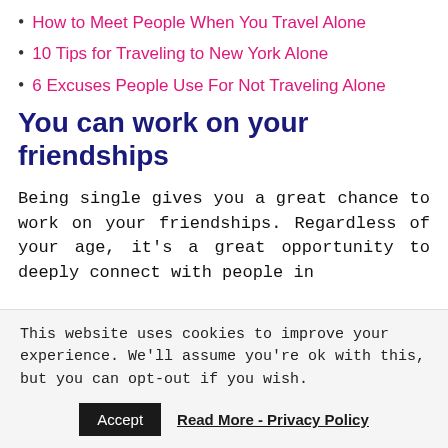How to Meet People When You Travel Alone
10 Tips for Traveling to New York Alone
6 Excuses People Use For Not Traveling Alone
You can work on your friendships
Being single gives you a great chance to work on your friendships. Regardless of your age, it's a great opportunity to deeply connect with people in
This website uses cookies to improve your experience. We'll assume you're ok with this, but you can opt-out if you wish.
Accept   Read More - Privacy Policy